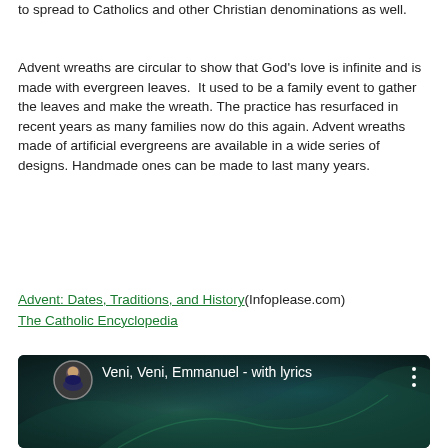to spread to Catholics and other Christian denominations as well.
Advent wreaths are circular to show that God's love is infinite and is made with evergreen leaves.  It used to be a family event to gather the leaves and make the wreath. The practice has resurfaced in recent years as many families now do this again. Advent wreaths made of artificial evergreens are available in a wide series of designs. Handmade ones can be made to last many years.
Advent: Dates, Traditions, and History(Infoplease.com)
The Catholic Encyclopedia
[Figure (screenshot): YouTube video thumbnail showing 'Veni, Veni, Emmanuel - with lyrics' with a dark teal aurora borealis background, a circular avatar of a person on the left, and a three-dot menu icon on the right.]